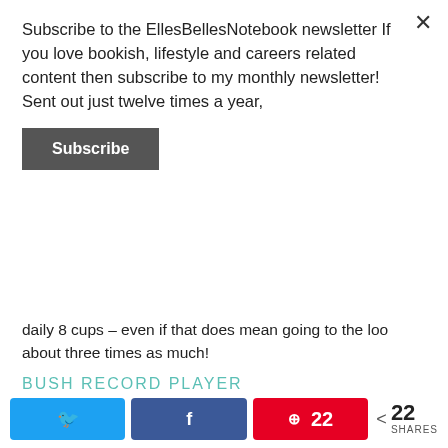Subscribe to the EllesBellesNotebook newsletter If you love bookish, lifestyle and careers related content then subscribe to my monthly newsletter! Sent out just twelve times a year,
Subscribe
daily 8 cups – even if that does mean going to the loo about three times as much!
BUSH RECORD PLAYER
As a Christmas present, my parents got me a portable Bush Record Player and two albums. I've added two more albums to my collection. I've found that listening to an album on the player is the perfect come-down I need from a hard day's work. Now to raid my parents Vinyl Collection from the 80s!
22 SHARES